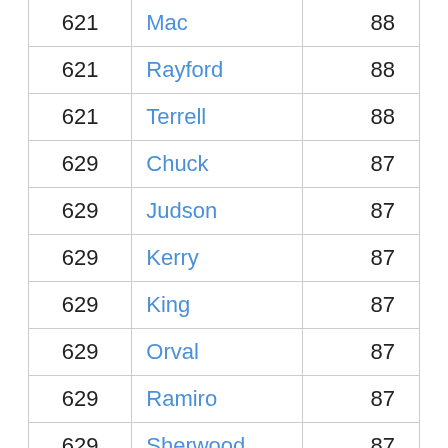| 621 | Mac | 88 |
| 621 | Rayford | 88 |
| 621 | Terrell | 88 |
| 629 | Chuck | 87 |
| 629 | Judson | 87 |
| 629 | Kerry | 87 |
| 629 | King | 87 |
| 629 | Orval | 87 |
| 629 | Ramiro | 87 |
| 629 | Sherwood | 87 |
| 636 | Angel | 86 |
| 636 | Augustus | 86 |